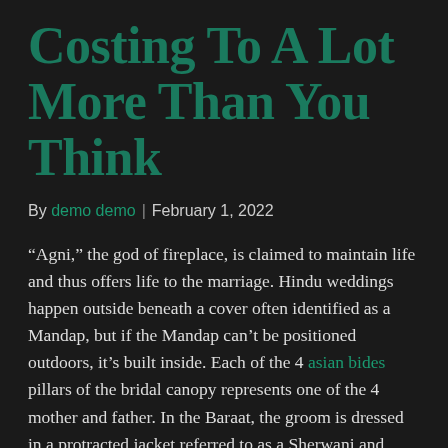Costing To A Lot More Than You Think
By demo demo | February 1, 2022
“Agni,” the god of fireplace, is claimed to maintain life and thus offers life to the marriage. Hindu weddings happen outside beneath a cover often identified as a Mandap, but if the Mandap can’t be positioned outdoors, it’s built inside. Each of the 4 asian bides pillars of the bridal canopy represents one of the 4 mother and father. In the Baraat, the groom is dressed in a protracted jacket referred to as a Sherwani and fitted trousers known as Churidars. He wears a Safa, a turban